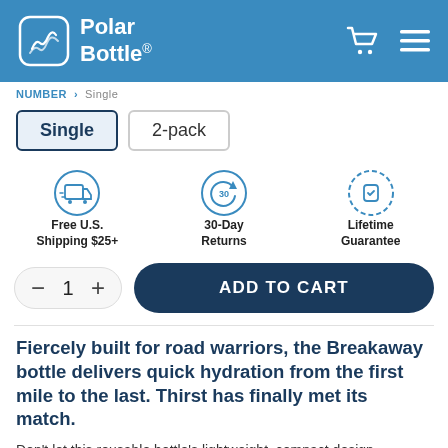[Figure (logo): Polar Bottle logo with wave icon in blue header]
Polar Bottle
NUMBER > Single
Single
2-pack
[Figure (infographic): Three benefit icons: Free U.S. Shipping $25+, 30-Day Returns, Lifetime Guarantee]
Free U.S. Shipping $25+
30-Day Returns
Lifetime Guarantee
ADD TO CART
Fiercely built for road warriors, the Breakaway bottle delivers quick hydration from the first mile to the last. Thirst has finally met its match.
Don't let this reusable bottle's lightweight, compact design